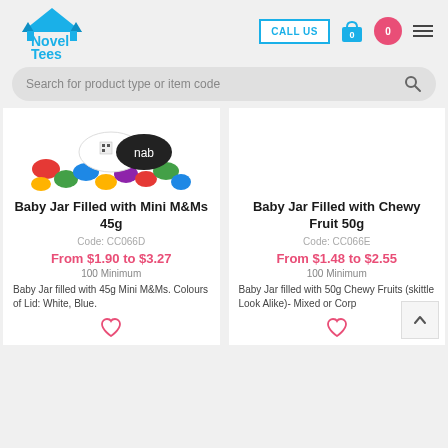[Figure (logo): Novel Tees logo with blue tent/marquee shape above stylized text]
CALL US
[Figure (illustration): Baby Jar Filled with Mini M&Ms 45g product photo — jar with colorful M&Ms and white lid with QR code, nab branding]
Baby Jar Filled with Mini M&Ms 45g
Code: CC066D
From $1.90 to $3.27
100 Minimum
Baby Jar filled with 45g Mini M&Ms. Colours of Lid: White, Blue.
Baby Jar Filled with Chewy Fruit 50g
Code: CC066E
From $1.48 to $2.55
100 Minimum
Baby Jar filled with 50g Chewy Fruits (skittle Look Alike)- Mixed or Corp